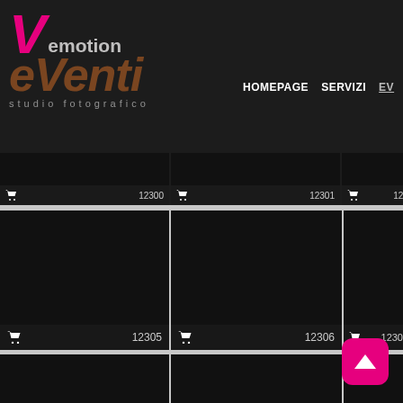[Figure (screenshot): Website screenshot of 'eVenti - studio fotografico' showing a photo gallery grid with shopping cart icons and photo numbers (12300, 12301, 12305, 12306, 12310, 12311, 12315, 12316). Navigation bar shows HOMEPAGE, SERVIZI, EV... A pink back-to-top button with an upward arrow is visible in the bottom right.]